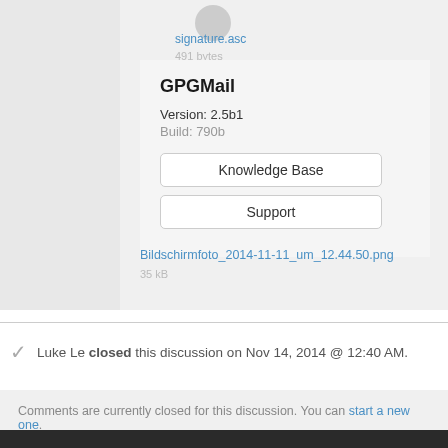[Figure (screenshot): Screenshot of a software panel showing GPGMail plugin info with version 2.5b1, Build 790b, and two buttons: Knowledge Base and Support, with attachment link Bildschirmfoto_2014-11-11_um_12.44.50.png]
signature.asc
GPGMail
Version: 2.5b1
Build: 790b
Knowledge Base
Support
Bildschirmfoto_2014-11-11_um_12.44.50.png
Luke Le closed this discussion on Nov 14, 2014 @ 12:40 AM.
Comments are currently closed for this discussion. You can start a new one.